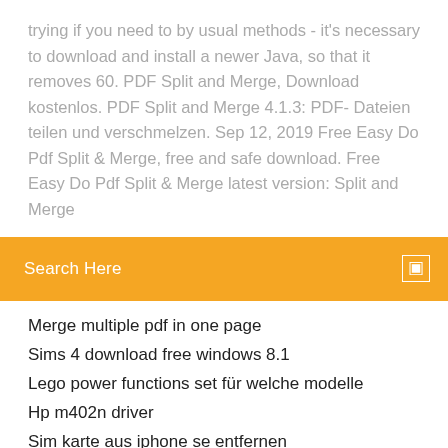trying if you need to by usual methods - it's necessary to download and install a newer Java, so that it removes 60. PDF Split and Merge, Download kostenlos. PDF Split and Merge 4.1.3: PDF- Dateien teilen und verschmelzen. Sep 12, 2019 Free Easy Do Pdf Split & Merge, free and safe download. Free Easy Do Pdf Split & Merge latest version: Split and Merge
[Figure (screenshot): Orange search bar with text 'Search Here' and a search icon on the right]
Merge multiple pdf in one page
Sims 4 download free windows 8.1
Lego power functions set für welche modelle
Hp m402n driver
Sim karte aus iphone se entfernen
Imageclass mf3010 treiber für windows 7 32 bit
Ausdruck nach hause xp-4100 bewertung
Wie kann ich prüfen wie schnell mein internet ist
Ddr4 2666 vs 2400 performance
Technic launcher java runtime environment not found fix